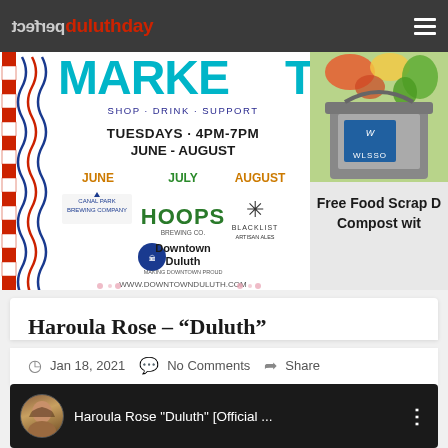perfect duluthday
[Figure (screenshot): Downtown Duluth MARKET ad — SHOP · DRINK · SUPPORT, TUESDAYS · 4PM-7PM, JUNE - AUGUST, with sponsor logos for Canal Park Brewing, HOOPS Brewing Co., Blacklist Brewing, Downtown Duluth, www.downtownduluth.com]
[Figure (screenshot): Free Food Scrap Drop Compost with WLSSO — grey bucket with vegetables/scraps, teal logo]
Haroula Rose – "Duluth"
Jan 18, 2021   No Comments   Share
[Figure (screenshot): Video thumbnail: Haroula Rose "Duluth" [Official ... with circular avatar of woman and three-dot menu]